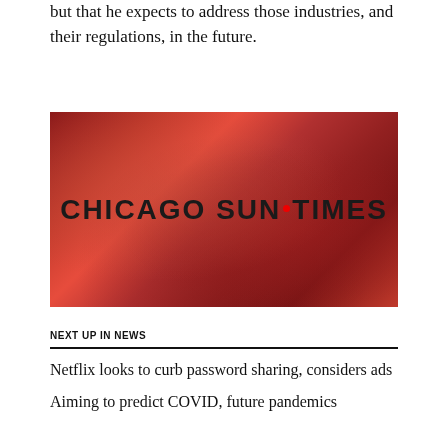but that he expects to address those industries, and their regulations, in the future.
[Figure (photo): Chicago Sun-Times logo displayed on a dark red blurred background image]
NEXT UP IN NEWS
Netflix looks to curb password sharing, considers ads
Aiming to predict COVID, future pandemics